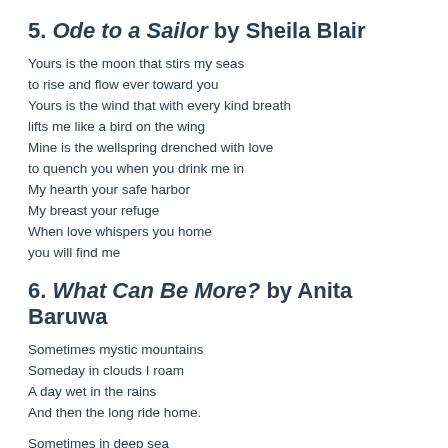5. Ode to a Sailor by Sheila Blair
Yours is the moon that stirs my seas
to rise and flow ever toward you
Yours is the wind that with every kind breath
lifts me like a bird on the wing
Mine is the wellspring drenched with love
to quench you when you drink me in
My hearth your safe harbor
My breast your refuge
When love whispers you home
you will find me
6. What Can Be More? by Anita Baruwa
Sometimes mystic mountains
Someday in clouds I roam
A day wet in the rains
And then the long ride home.

Sometimes in deep sea
Someday ashore
A day in luscious lea